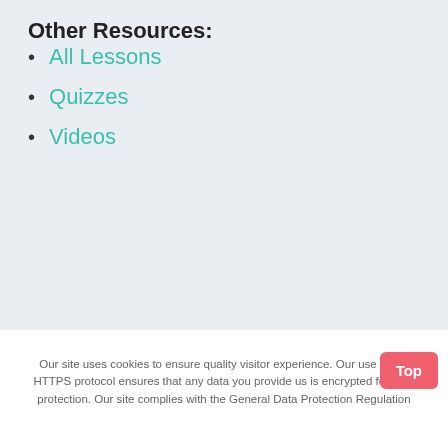Other Resources:
All Lessons
Quizzes
Videos
Our site uses cookies to ensure quality visitor experience. Our use of the HTTPS protocol ensures that any data you provide us is encrypted for your protection. Our site complies with the General Data Protection Regulation
Top